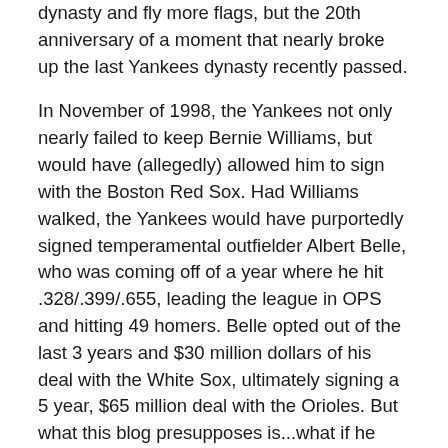dynasty and fly more flags, but the 20th anniversary of a moment that nearly broke up the last Yankees dynasty recently passed.
In November of 1998, the Yankees not only nearly failed to keep Bernie Williams, but would have (allegedly) allowed him to sign with the Boston Red Sox. Had Williams walked, the Yankees would have purportedly signed temperamental outfielder Albert Belle, who was coming off of a year where he hit .328/.399/.655, leading the league in OPS and hitting 49 homers. Belle opted out of the last 3 years and $30 million dollars of his deal with the White Sox, ultimately signing a 5 year, $65 million deal with the Orioles. But what this blog presupposes is...what if he didn't?